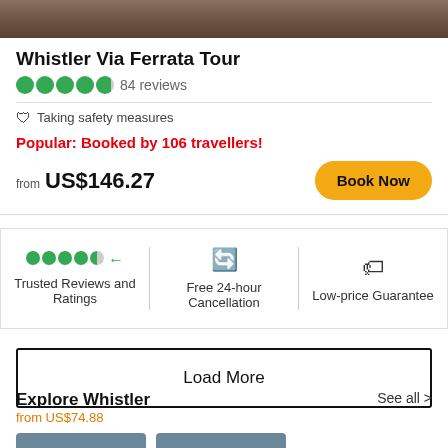[Figure (photo): Top strip showing outdoor climbing/via ferrata activity photo]
Whistler Via Ferrata Tour
84 reviews
Taking safety measures
Popular: Booked by 106 travellers!
from US$146.27
Book Now
Trusted Reviews and Ratings
Free 24-hour Cancellation
Low-price Guarantee
Load More
Explore Whistler
from US$74.88
See all >